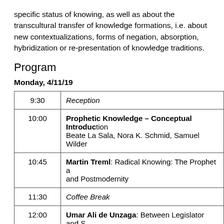specific status of knowing, as well as about the transcultural transfer of knowledge formations, i.e. about new contextualizations, forms of negation, absorption, hybridization or re-presentation of knowledge traditions.
Program
Monday, 4/11/19
| Time | Event |
| --- | --- |
| 9:30 | Reception |
| 10:00 | Prophetic Knowledge – Conceptual Introduc­tion
Beate La Sala, Nora K. Schmid, Samuel Wilder­ |
| 10:45 | Martin Treml: Radical Knowing: The Prophet a­
and Postmodernity |
| 11:30 | Coffee Break |
| 12:00 | Umar Ali de Unzaga: Between Legislator and S­
the Nature of the Language of Revelation in the­
Texts |